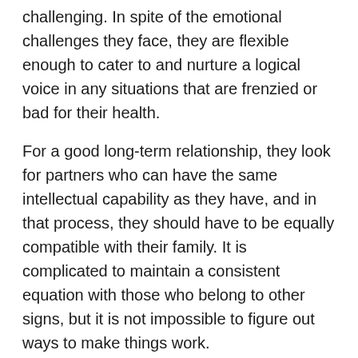challenging. In spite of the emotional challenges they face, they are flexible enough to cater to and nurture a logical voice in any situations that are frenzied or bad for their health.
For a good long-term relationship, they look for partners who can have the same intellectual capability as they have, and in that process, they should have to be equally compatible with their family. It is complicated to maintain a consistent equation with those who belong to other signs, but it is not impossible to figure out ways to make things work.
Taurus Zodiac Signs Biggest Weaknesses
This sign moves slowly, albeit steadily, because of which it can sometimes be accused of laziness. But remember the parable of the tortoise and the hare? The slow energy of Taurus has certain advantages. However, sometimes this